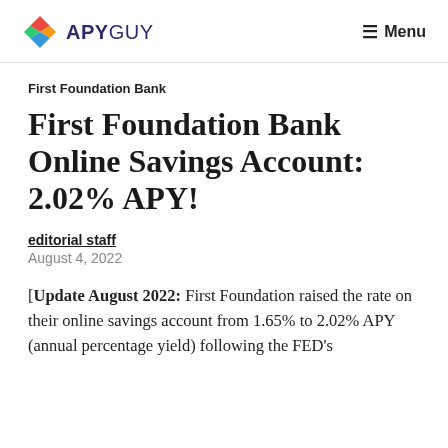APYGUY  Menu
First Foundation Bank
First Foundation Bank Online Savings Account: 2.02% APY!
editorial staff
August 4, 2022
[Update August 2022: First Foundation raised the rate on their online savings account from 1.65% to 2.02% APY (annual percentage yield) following the FED's